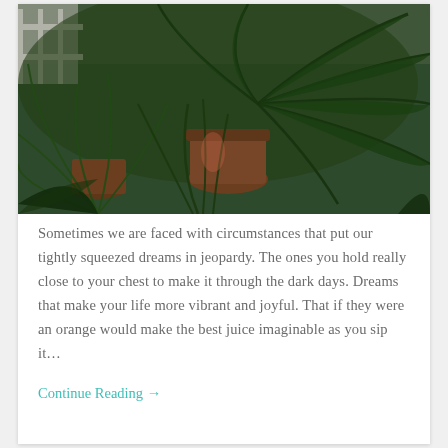[Figure (photo): Photograph of lush green tropical potted plants including palm trees and other foliage in an outdoor or greenhouse setting, with terracotta pots and a white fence visible in the background.]
Sometimes we are faced with circumstances that put our tightly squeezed dreams in jeopardy. The ones you hold really close to your chest to make it through the dark days. Dreams that make your life more vibrant and joyful. That if they were an orange would make the best juice imaginable as you sip it…
Continue Reading →